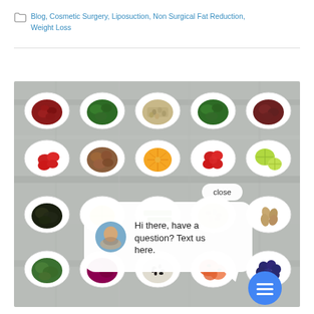Blog, Cosmetic Surgery, Liposuction, Non Surgical Fat Reduction, Weight Loss
[Figure (photo): Flat lay of various healthy foods (kidney beans, leafy greens, seeds, nuts, fruits, berries, vegetables) arranged in white heart-shaped bowls on a rustic wooden background, with a chat widget overlay showing 'Hi there, have a question? Text us here.' and a close button]